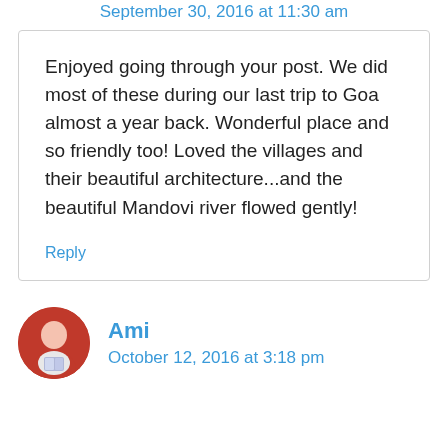September 30, 2016 at 11:30 am
Enjoyed going through your post. We did most of these during our last trip to Goa almost a year back. Wonderful place and so friendly too! Loved the villages and their beautiful architecture...and the beautiful Mandovi river flowed gently!
Reply
Ami
October 12, 2016 at 3:18 pm